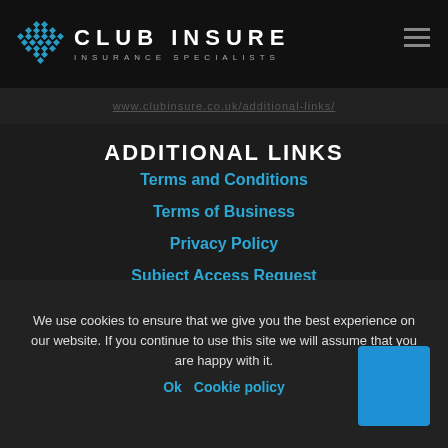CLUB INSURE INSURANCE SPECIALISTS
www.clubinsure.co.uk/additional-links/
ADDITIONAL LINKS
Terms and Conditions
Terms of Business
Privacy Policy
Subject Access Request
Cookie Policy
Claims
Press Contact
We use cookies to ensure that we give you the best experience on our website. If you continue to use this site we will assume that you are happy with it.
Ok   Cookie policy